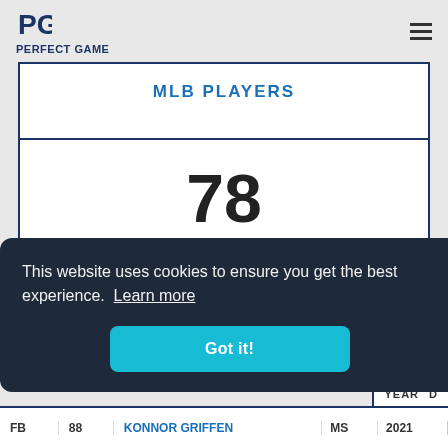PERFECT GAME
MLB PLAYERS
78
DRAFTED
This website uses cookies to ensure you get the best experience. Learn more
Got it!
|  |  | KONNOR GRIFFEN | MS | YEAR | D |
| --- | --- | --- | --- | --- | --- |
| FB | 88 | KONNOR GRIFFEN | MS | 2021 |  |